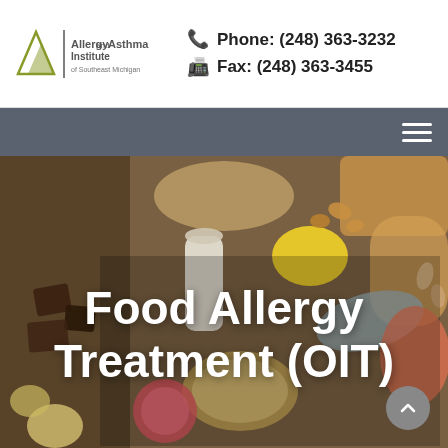Allergy and Asthma Institute of Southeast Michigan — Phone: (248) 363-3232  Fax: (248) 363-3455
[Figure (photo): Flat-lay photo of various food allergy trigger foods including bread, fish, shrimp, nuts, eggs, chocolate, lemon, milk bottle, grains, and grapefruit arranged on a wooden table surface]
Food Allergy Treatment (OIT)